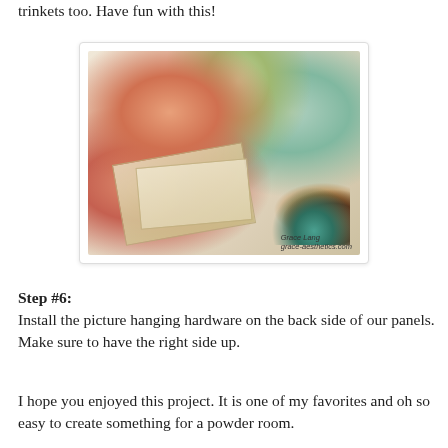trinkets too. Have fun with this!
[Figure (photo): A decorative craft panel with floral paper (hydrangeas and roses in coral and teal), layered with vintage book pages, decorative rhinestone swirl embellishment, and mixed media flowers in teal, orange, and brown. Signed 'Grace Lang' at the bottom right.]
Step #6:
Install the picture hanging hardware on the back side of our panels. Make sure to have the right side up.
I hope you enjoyed this project. It is one of my favorites and oh so easy to create something for a powder room.